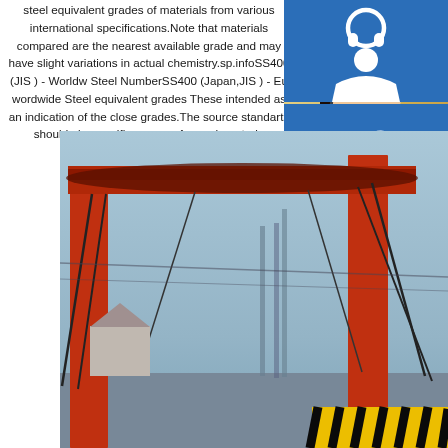steel equivalent grades of materials from various international specifications.Note that materials compared are the nearest available grade and may have slight variations in actual chemistry.sp.infoSS400 (JIS ) - Worldwide Steel NumberSS400 (Japan,JIS ) - Eu wordwide Steel equivalent grades These intended as an indication of the close grades.The source standarts should alw specific purpose for each materia Buy,sell,suppliers search produc
[Figure (photo): Photo of a woman wearing a headset microphone, customer service representative, with yellow/warm background]
[Figure (infographic): Blue icon box with white headset/customer service icon]
[Figure (infographic): Blue icon box with white phone/call icon]
[Figure (infographic): Blue icon box with white Skype icon (S letter)]
READ MORE
MANUAL SE
QUOTING O
bsteel1@163.com
[Figure (photo): Industrial photo showing red gantry crane structure at a steel facility, with cables and construction equipment against a blue sky]